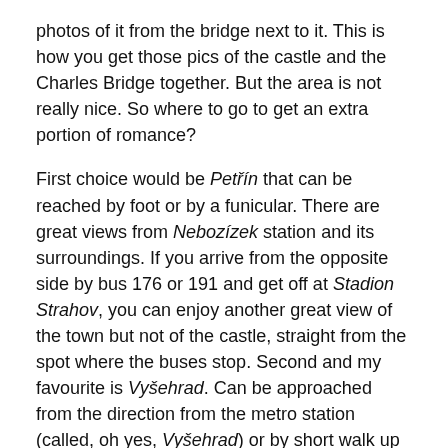photos of it from the bridge next to it. This is how you get those pics of the castle and the Charles Bridge together. But the area is not really nice. So where to go to get an extra portion of romance?
First choice would be Petřín that can be reached by foot or by a funicular. There are great views from Nebozízek station and its surroundings. If you arrive from the opposite side by bus 176 or 191 and get off at Stadion Strahov, you can enjoy another great view of the town but not of the castle, straight from the spot where the buses stop. Second and my favourite is Vyšehrad. Can be approached from the direction from the metro station (called, oh yes, Vyšehrad) or by short walk up the hill from Výtoň tram station. Old city walls surrounding the Vyšehrad hill with the church offer one of the best views of the town, the river and of course the castle. You can walk around the hill and